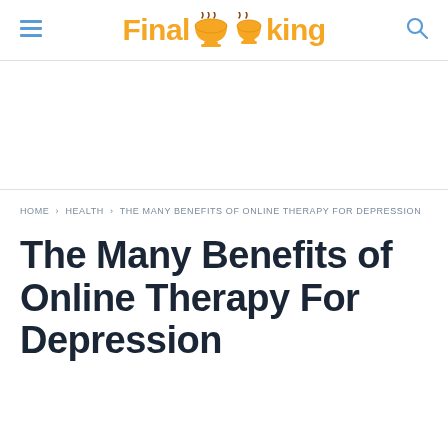FinalCooking
[Figure (other): Advertisement / blank ad space]
HOME › HEALTH › THE MANY BENEFITS OF ONLINE THERAPY FOR DEPRESSION
The Many Benefits of Online Therapy For Depression